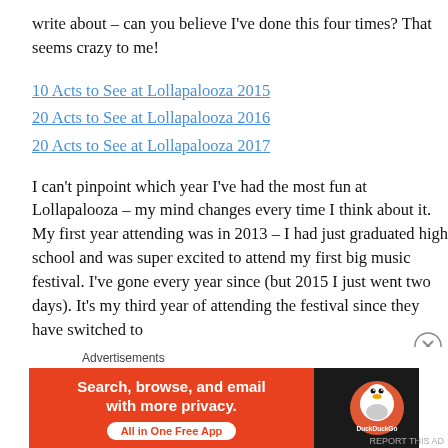write about – can you believe I've done this four times? That seems crazy to me!
10 Acts to See at Lollapalooza 2015
20 Acts to See at Lollapalooza 2016
20 Acts to See at Lollapalooza 2017
I can't pinpoint which year I've had the most fun at Lollapalooza – my mind changes every time I think about it. My first year attending was in 2013 – I had just graduated high school and was super excited to attend my first big music festival. I've gone every year since (but 2015 I just went two days). It's my third year of attending the festival since they have switched to
[Figure (infographic): DuckDuckGo advertisement banner with orange left section reading 'Search, browse, and email with more privacy. All in One Free App' and dark right section with DuckDuckGo duck logo and text.]